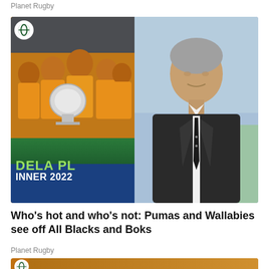Planet Rugby
[Figure (photo): Two-panel image: left panel shows Australian Wallabies rugby team in orange jerseys holding a trophy with 'DELA PL INNER 2022' banner; right panel shows a grey-haired man in a dark suit standing outdoors]
Who's hot and who's not: Pumas and Wallabies see off All Blacks and Boks
Planet Rugby
[Figure (photo): Partial bottom image strip showing Planet Rugby logo and rugby action photo]